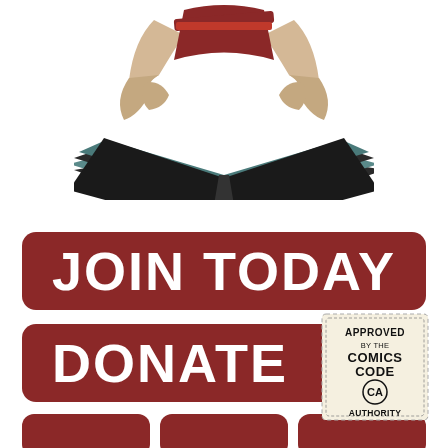[Figure (illustration): Retro illustration of a person holding a large open book or comic, with arms wrapped around it. Art deco style with teal, black, cream, and red colors.]
[Figure (infographic): Red rounded-rectangle button with white bold text reading JOIN TODAY]
[Figure (infographic): Red rounded-rectangle button with white bold text reading DONATE, with a Comics Code Authority stamp in the top-right corner overlapping the button]
[Figure (infographic): Three partially visible red rounded-rectangle buttons at the bottom of the page]